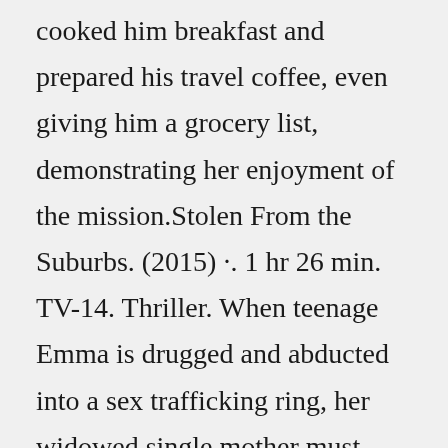cooked him breakfast and prepared his travel coffee, even giving him a grocery list, demonstrating her enjoyment of the mission.Stolen From the Suburbs. (2015) ·. 1 hr 26 min. TV-14. Thriller. When teenage Emma is drugged and abducted into a sex trafficking ring, her widowed single mother must pose as a customer in order to save her. DIRECTOR. Alex Wright.NR 1 hr 27 min Aug 30th, 2015 Drama, Crime, TV